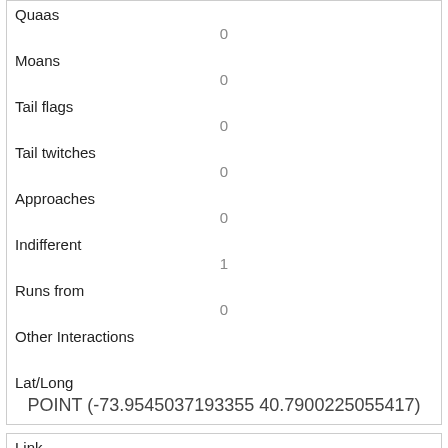| Quaas | 0 |
| Moans | 0 |
| Tail flags | 0 |
| Tail twitches | 0 |
| Approaches | 0 |
| Indifferent | 1 |
| Runs from | 0 |
| Other Interactions |  |
| Lat/Long | POINT (-73.9545037193355 40.7900225055417) |
| Link | 1464 |